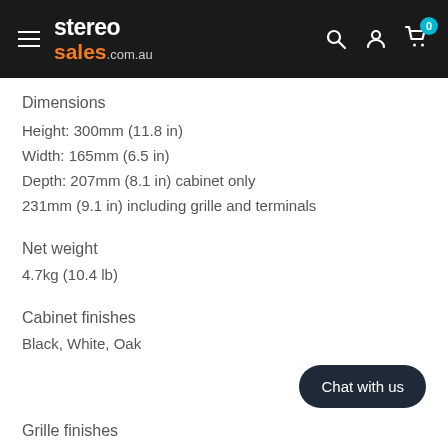stereo sales.com.au
Dimensions
Height: 300mm (11.8 in)
Width: 165mm (6.5 in)
Depth: 207mm (8.1 in) cabinet only
231mm (9.1 in) including grille and terminals
Net weight
4.7kg (10.4 lb)
Cabinet finishes
Black, White, Oak
Grille finishes